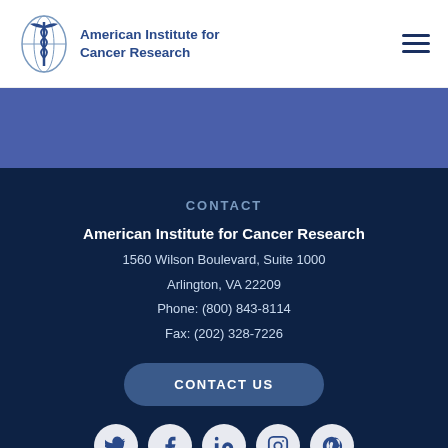American Institute for Cancer Research
[Figure (logo): American Institute for Cancer Research logo with caduceus-style emblem in blue circle]
CONTACT
American Institute for Cancer Research
1560 Wilson Boulevard, Suite 1000
Arlington, VA 22209
Phone: (800) 843-8114
Fax: (202) 328-7226
CONTACT US
[Figure (illustration): Row of social media icons: Twitter, Facebook, LinkedIn, Instagram, Pinterest]